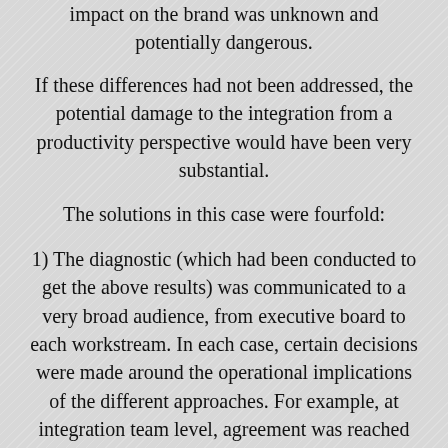impact on the brand was unknown and potentially dangerous.
If these differences had not been addressed, the potential damage to the integration from a productivity perspective would have been very substantial.
The solutions in this case were fourfold:
1) The diagnostic (which had been conducted to get the above results) was communicated to a very broad audience, from executive board to each workstream. In each case, certain decisions were made around the operational implications of the different approaches. For example, at integration team level, agreement was reached on the level of consultation